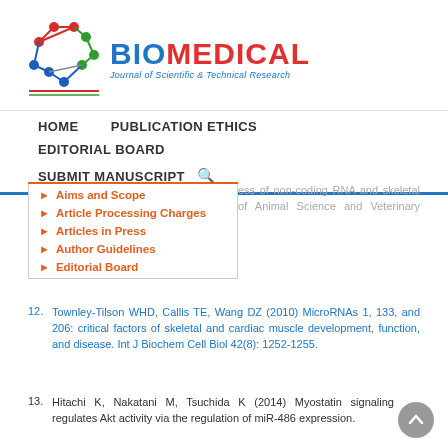[Figure (logo): Biomedical Journal of Scientific & Technical Research logo with molecular network graphic in red, blue, and green]
HOME    PUBLICATION ETHICS
EDITORIAL BOARD
SUBMIT MANUSCRIPT
Aims and Scope
Article Processing Charges
Articles in Press
Author Guidelines
Editorial Board
Peng Xingu, et al. (2020) Research progress of non-coding RNA and skeletal muscle development. Chinese Journal of Animal Science and Veterinary Medicine 47(11): 3584-3594.
12. Townley-Tilson WHD, Callis TE, Wang DZ (2010) MicroRNAs 1, 133, and 206: critical factors of skeletal and cardiac muscle development, function, and disease. Int J Biochem Cell Biol 42(8): 1252-1255.
13. Hitachi K, Nakatani M, Tsuchida K (2014) Myostatin signaling regulates Akt activity via the regulation of miR-486 expression.